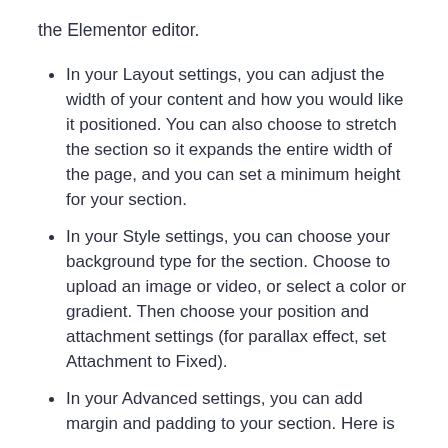the Elementor editor.
In your Layout settings, you can adjust the width of your content and how you would like it positioned. You can also choose to stretch the section so it expands the entire width of the page, and you can set a minimum height for your section.
In your Style settings, you can choose your background type for the section. Choose to upload an image or video, or select a color or gradient. Then choose your position and attachment settings (for parallax effect, set Attachment to Fixed).
In your Advanced settings, you can add margin and padding to your section. Here is where you can also add CSS classes to it...